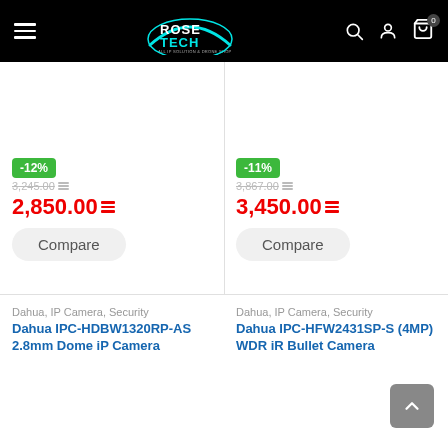[Figure (screenshot): Rose Tech website header with hamburger menu, logo, search, account, and cart icons on black background]
-12%
3,245.00
2,850.00
Compare
-11%
3,867.00
3,450.00
Compare
Dahua, IP Camera, Security
Dahua IPC-HDBW1320RP-AS 2.8mm Dome iP Camera
Dahua, IP Camera, Security
Dahua IPC-HFW2431SP-S (4MP) WDR iR Bullet Camera